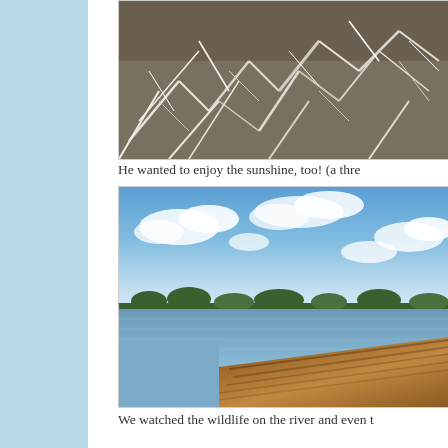[Figure (photo): Close-up photo of tangled white frost-covered branches or roots on the ground, appearing partially cropped at top of page]
He wanted to enjoy the sunshine, too!  (a thre
[Figure (photo): Outdoor photo of a wide river or lake with a wooden dock in the foreground, blue sky with white clouds above, and a tree line visible on the far shore]
We watched the wildlife on the river and even t